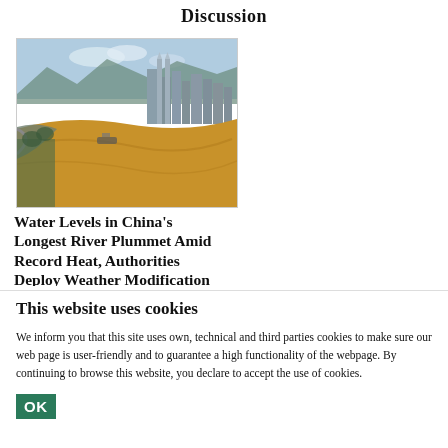Discussion
[Figure (photo): Aerial photograph of a wide river with murky brown water curving through an urban landscape with skyscrapers and mountains in the background, likely Chongqing on the Yangtze River.]
Water Levels in China's Longest River Plummet Amid Record Heat, Authorities Deploy Weather Modification
This website uses cookies
We inform you that this site uses own, technical and third parties cookies to make sure our web page is user-friendly and to guarantee a high functionality of the webpage. By continuing to browse this website, you declare to accept the use of cookies.
OK